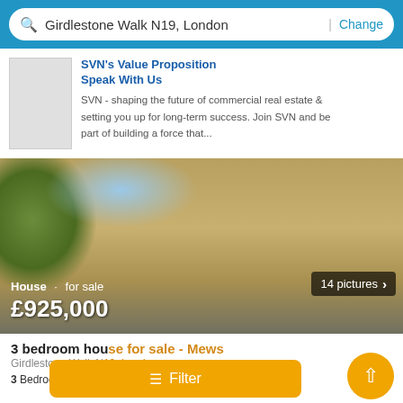Girdlestone Walk N19, London | Change
SVN's Value Proposition
Speak With Us
SVN - shaping the future of commercial real estate & setting you up for long-term success. Join SVN and be part of building a force that...
[Figure (photo): Exterior photo of a brick mews house for sale on Girdlestone Walk N19, London. Shows stone/brick facade with multiple windows, green foliage, and a tree on the left. Badge reads '14 pictures'. Overlay text: 'House · for sale £925,000']
3 bedroom house for sale - Mews
Girdlestone Walk N19, London
3 Bedrooms  2 Baths